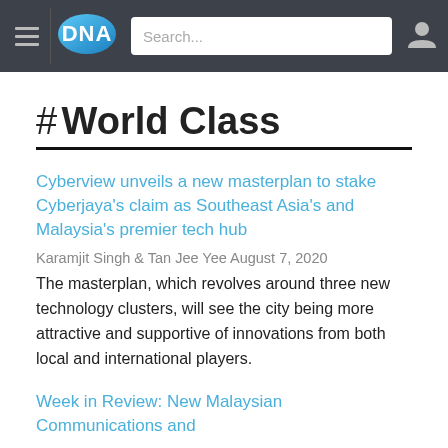DNA — navigation bar with hamburger menu, DNA logo, search box, user icon
# World Class
Cyberview unveils a new masterplan to stake Cyberjaya's claim as Southeast Asia's and Malaysia's premier tech hub
Karamjit Singh & Tan Jee Yee August 7, 2020
The masterplan, which revolves around three new technology clusters, will see the city being more attractive and supportive of innovations from both local and international players.
Week in Review: New Malaysian Communications and